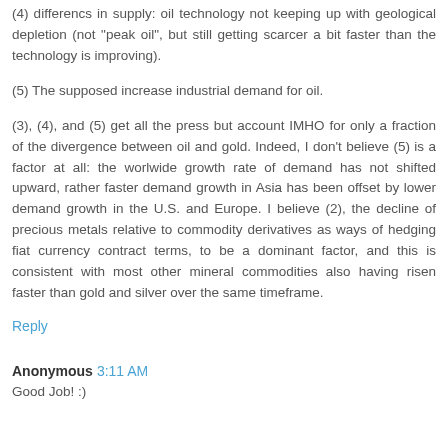(4) differencs in supply: oil technology not keeping up with geological depletion (not "peak oil", but still getting scarcer a bit faster than the technology is improving).
(5) The supposed increase industrial demand for oil.
(3), (4), and (5) get all the press but account IMHO for only a fraction of the divergence between oil and gold. Indeed, I don't believe (5) is a factor at all: the worlwide growth rate of demand has not shifted upward, rather faster demand growth in Asia has been offset by lower demand growth in the U.S. and Europe. I believe (2), the decline of precious metals relative to commodity derivatives as ways of hedging fiat currency contract terms, to be a dominant factor, and this is consistent with most other mineral commodities also having risen faster than gold and silver over the same timeframe.
Reply
Anonymous 3:11 AM
Good Job! :)